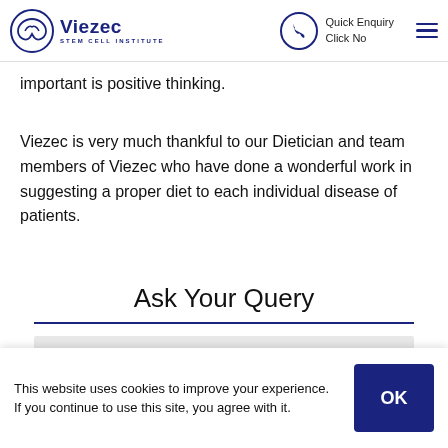Viezec Stem Cell Institute | Quick Enquiry Click No
important is positive thinking.
Viezec is very much thankful to our Dietician and team members of Viezec who have done a wonderful work in suggesting a proper diet to each individual disease of patients.
Ask Your Query
This website uses cookies to improve your experience. If you continue to use this site, you agree with it.